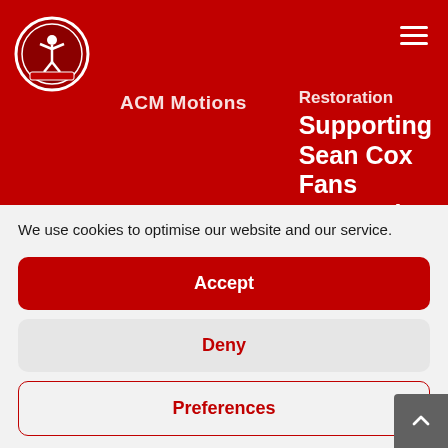[Figure (logo): Spirit of Shankly supporters union circular logo with figure raising arms, on red background]
[Figure (other): Hamburger menu icon (three horizontal white lines) in top right corner]
ACM Motions
Restoration
Supporting Sean Cox
Fans Supporting
We use cookies to optimise our website and our service.
Accept
Deny
Preferences
Cookie Policy   Privacy policy